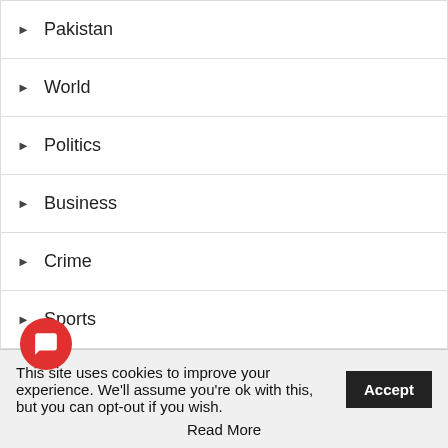Pakistan
World
Politics
Business
Crime
Sports
Entertainment
Technology
Programs
This site uses cookies to improve your experience. We'll assume you're ok with this, but you can opt-out if you wish. Read More